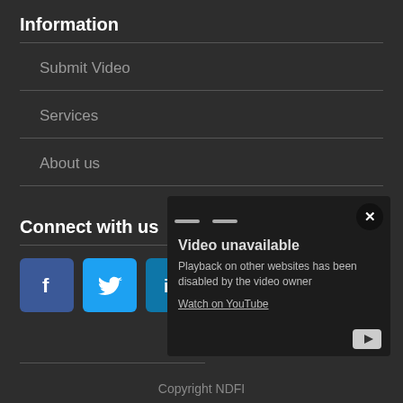Information
Submit Video
Services
About us
Connect with us
[Figure (screenshot): Social media icon buttons: Facebook, Twitter, LinkedIn, Tumblr]
[Figure (screenshot): Video unavailable popup overlay with close button and YouTube icon. Text: 'Video unavailable. Playback on other websites has been disabled by the video owner. Watch on YouTube']
Copyright NDFI